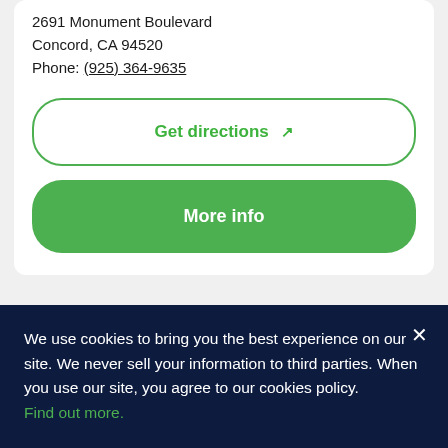2691 Monument Boulevard
Concord, CA 94520
Phone: (925) 364-9635
Get directions ↗
More info
We use cookies to bring you the best experience on our site. We never sell your information to third parties. When you use our site, you agree to our cookies policy. Find out more.